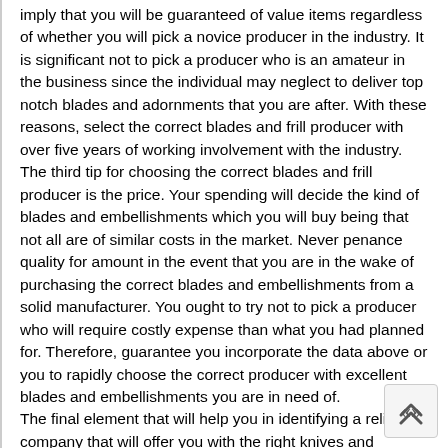imply that you will be guaranteed of value items regardless of whether you will pick a novice producer in the industry. It is significant not to pick a producer who is an amateur in the business since the individual may neglect to deliver top notch blades and adornments that you are after. With these reasons, select the correct blades and frill producer with over five years of working involvement with the industry. The third tip for choosing the correct blades and frill producer is the price. Your spending will decide the kind of blades and embellishments which you will buy being that not all are of similar costs in the market. Never penance quality for amount in the event that you are in the wake of purchasing the correct blades and embellishments from a solid manufacturer. You ought to try not to pick a producer who will require costly expense than what you had planned for. Therefore, guarantee you incorporate the data above or you to rapidly choose the correct producer with excellent blades and embellishments you are in need of. The final element that will help you in identifying a reliable company that will offer you with the right knives and accessories you are after is availability. Not all manufacturers operate around the clock. A manufacturer